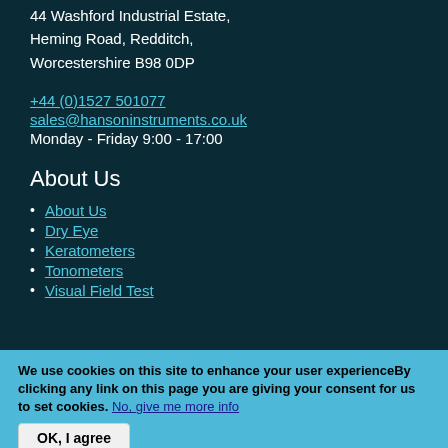44 Washford Industrial Estate, Heming Road, Redditch, Worcestershire B98 0DP
+44 (0)1527 501077
sales@hansoninstruments.co.uk
Monday - Friday 9:00 - 17:00
About Us
About Us
Dry Eye
Keratometers
Tonometers
Visual Field Test
We use cookies on this site to enhance your user experienceBy clicking any link on this page you are giving your consent for us to set cookies. No, give me more info
OK, I agree